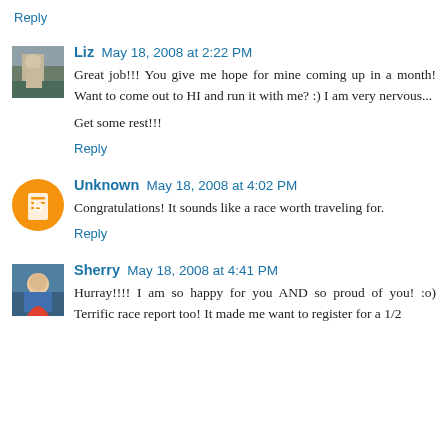Reply
Liz May 18, 2008 at 2:22 PM
Great job!!! You give me hope for mine coming up in a month! Want to come out to HI and run it with me? :) I am very nervous...
Get some rest!!!
Reply
Unknown May 18, 2008 at 4:02 PM
Congratulations! It sounds like a race worth traveling for.
Reply
Sherry May 18, 2008 at 4:41 PM
Hurray!!!! I am so happy for you AND so proud of you! :o) Terrific race report too! It made me want to register for a 1/2